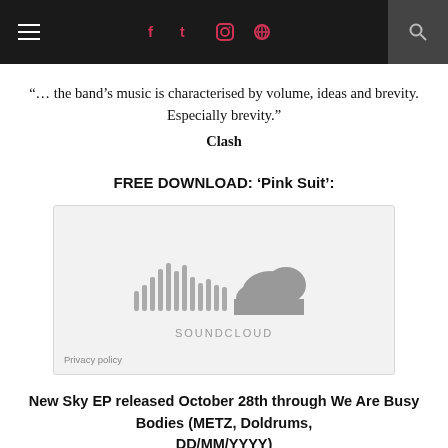≡  f  t  ☷  ⊕  🔍
“… the band’s music is characterised by volume, ideas and brevity. Especially brevity.”
Clash
FREE DOWNLOAD: ‘Pink Suit’:
[Figure (other): SoundCloud embedded audio player widget showing the SoundCloud logo (soundwave bars and cloud shape) with text SOUNDCLOUD and a Privacy policy link at the bottom left.]
New Sky EP released October 28th through We Are Busy Bodies (METZ, Doldrums, DD/MM/YYYY)